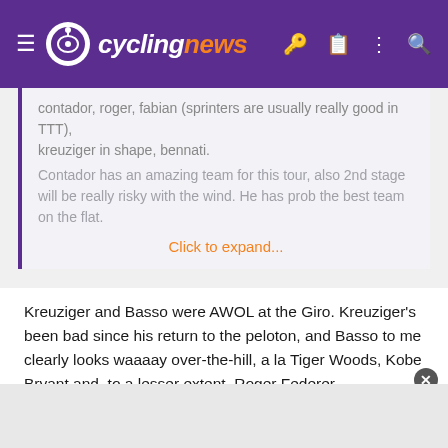cyclingnews
contador, roger, fabian (sprinters are usually really good in TTT), kreuziger in shape, bennati.
Contador has an amazing team for this tour, also 2nd stage will be really risky with the wind. He has prob the best team on the flat.
Click to expand...
Kreuziger and Basso were AWOL at the Giro. Kreuziger's been bad since his return to the peloton, and Basso to me clearly looks waaaay over-the-hill, a la Tiger Woods, Kobe Bryant and, to a lesser extent, Roger Federer.
Majka, I agree, could be a steller teammate, and if my continued prediction comes true that Contador has zero shot at winning the TDF, due to what the Giro took out of him, maybe Majka can go for